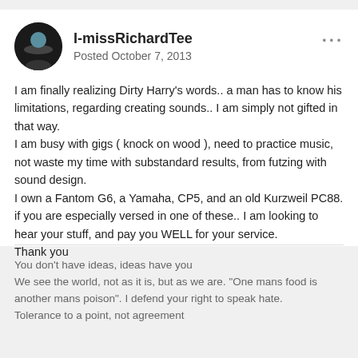I-missRichardTee
Posted October 7, 2013
I am finally realizing Dirty Harry's words.. a man has to know his limitations, regarding creating sounds.. I am simply not gifted in that way.
I am busy with gigs ( knock on wood ), need to practice music, not waste my time with substandard results, from futzing with sound design.
I own a Fantom G6, a Yamaha, CP5, and an old Kurzweil PC88. if you are especially versed in one of these.. I am looking to hear your stuff, and pay you WELL for your service.
Thank you
You don't have ideas, ideas have you
We see the world, not as it is, but as we are. "One mans food is another mans poison". I defend your right to speak hate.
Tolerance to a point, not agreement